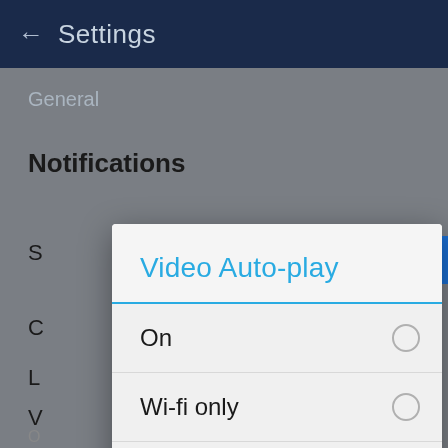← Settings
General
Notifications
[Figure (screenshot): Android settings screen with a Video Auto-play dialog open. The dialog shows three options: On (unselected radio), Wi-fi only (unselected radio), and Off (selected radio with blue filled circle and a red checkmark). Background shows the Settings screen with General, Notifications labels visible.]